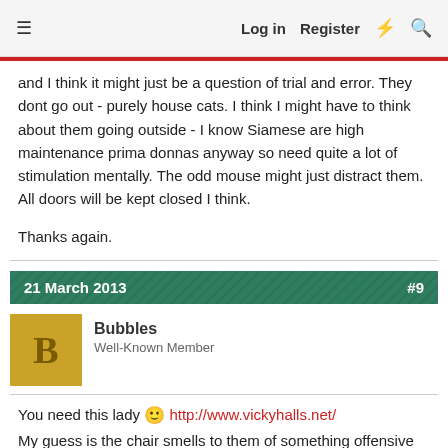Log in  Register
and I think it might just be a question of trial and error. They dont go out - purely house cats. I think I might have to think about them going outside - I know Siamese are high maintenance prima donnas anyway so need quite a lot of stimulation mentally. The odd mouse might just distract them. All doors will be kept closed I think.

Thanks again.
21 March 2013  #9
Bubbles
Well-Known Member
You need this lady 🙂 http://www.vickyhalls.net/
My guess is the chair smells to them of something offensive and that's causing a stress reaction. If you do end up rehoming them (fingers crossed not) then please consider using a rehoming service provided by Chapelhouse Persian and Pedigree Cat Rescue. Cheryl-Anne is wonderful and would do her best to help